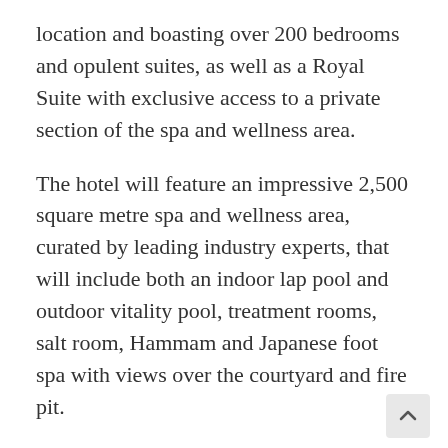location and boasting over 200 bedrooms and opulent suites, as well as a Royal Suite with exclusive access to a private section of the spa and wellness area.
The hotel will feature an impressive 2,500 square metre spa and wellness area, curated by leading industry experts, that will include both an indoor lap pool and outdoor vitality pool, treatment rooms, salt room, Hammam and Japanese foot spa with views over the courtyard and fire pit.
Marc Dardenne, chief operating officer, luxury brands, Accor Europe, said: “Through strategic investment, exceptional brand management and focused operations, Accor has established itself as a leader in the global luxury hotel market with a dedicated portfolio that includes many of the world’s most prestigious branc